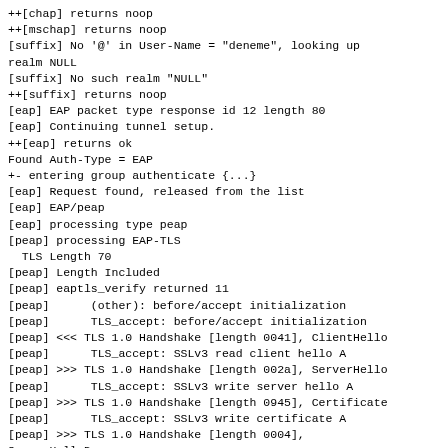++[chap] returns noop
++[mschap] returns noop
[suffix] No '@' in User-Name = "deneme", looking up realm NULL
[suffix] No such realm "NULL"
++[suffix] returns noop
[eap] EAP packet type response id 12 length 80
[eap] Continuing tunnel setup.
++[eap] returns ok
Found Auth-Type = EAP
+- entering group authenticate {...}
[eap] Request found, released from the list
[eap] EAP/peap
[eap] processing type peap
[peap] processing EAP-TLS
  TLS Length 70
[peap] Length Included
[peap] eaptls_verify returned 11
[peap]  (other): before/accept initialization
[peap]  TLS_accept: before/accept initialization
[peap] <<< TLS 1.0 Handshake [length 0041], ClientHello
[peap]  TLS_accept: SSLv3 read client hello A
[peap] >>> TLS 1.0 Handshake [length 002a], ServerHello
[peap]  TLS_accept: SSLv3 write server hello A
[peap] >>> TLS 1.0 Handshake [length 0945], Certificate
[peap]  TLS_accept: SSLv3 write certificate A
[peap] >>> TLS 1.0 Handshake [length 0004], ServerHelloDone
[peap]  TLS_accept: SSLv3 write server done A
[peap]  TLS_accept: SSLv3 flush data